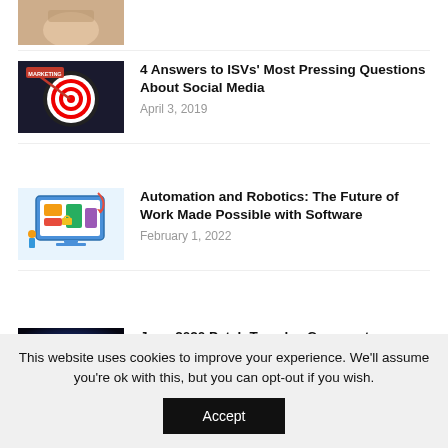[Figure (photo): Partial view of a photo at the top left, cropped, showing a person's hand]
[Figure (photo): Dark background with a dartboard and a dart labeled MARKETING hitting bullseye]
4 Answers to ISVs’ Most Pressing Questions About Social Media
April 3, 2019
[Figure (illustration): Colorful illustration of automation/robotics software interface with a robot and computer screen]
Automation and Robotics: The Future of Work Made Possible with Software
February 1, 2022
[Figure (photo): Close-up photo of a blue/red glowing keyboard with UPDATE text overlay]
June 2020 Patch Tuesday Commentary
June 25, 2020
This website uses cookies to improve your experience. We’ll assume you’re ok with this, but you can opt-out if you wish.